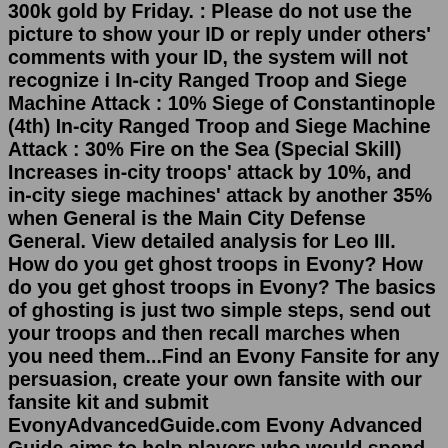300k gold by Friday. : Please do not use the picture to show your ID or reply under others' comments with your ID, the system will not recognize i In-city Ranged Troop and Siege Machine Attack : 10% Siege of Constantinople (4th) In-city Ranged Troop and Siege Machine Attack : 30% Fire on the Sea (Special Skill) Increases in-city troops' attack by 10%, and in-city siege machines' attack by another 35% when General is the Main City Defense General. View detailed analysis for Leo III. How do you get ghost troops in Evony? How do you get ghost troops in Evony? The basics of ghosting is just two simple steps, send out your troops and then recall marches when you need them...Find an Evony Fansite for any persuasion, create your own fansite with our fansite kit and submit EvonyAdvancedGuide.com Evony Advanced Guide aims to help players who would spend a fair...Topic Evony: How many farms should I build started. Darva Campbell commented on Evony: what is the benefit of...Download Evony and enjoy it on your iPhone, iPad, and iPod touch. Build your